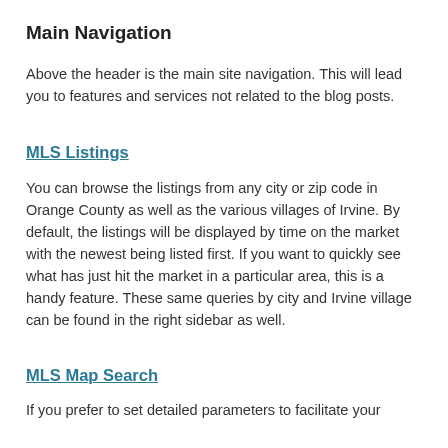Main Navigation
Above the header is the main site navigation. This will lead you to features and services not related to the blog posts.
MLS Listings
You can browse the listings from any city or zip code in Orange County as well as the various villages of Irvine. By default, the listings will be displayed by time on the market with the newest being listed first. If you want to quickly see what has just hit the market in a particular area, this is a handy feature. These same queries by city and Irvine village can be found in the right sidebar as well.
MLS Map Search
If you prefer to set detailed parameters to facilitate your